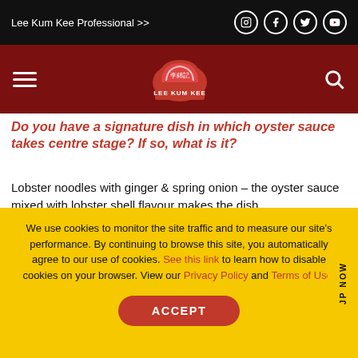Lee Kum Kee Professional >>
[Figure (logo): Lee Kum Kee logo with red arch and Chinese characters]
Do you have a signature dish in which oyster sauce takes centre stage? If so, what is it?
Lobster noodles with ginger & spring onion – the oyster sauce mixed with lobster shell flavour makes the dish.
Have you tried using oyster sauce or soy sauce to make Western dishes? Please explain.
Yes – a dash of oyster sauce in a Bolognese tastes
We use cookies to monitor the site traffic and to measure our site's performance. By continuing to browse this site, you automatically agree to our use of cookies. See this link to learn how to disable cookies on your browser. View our Privacy Policy and Terms of Use.